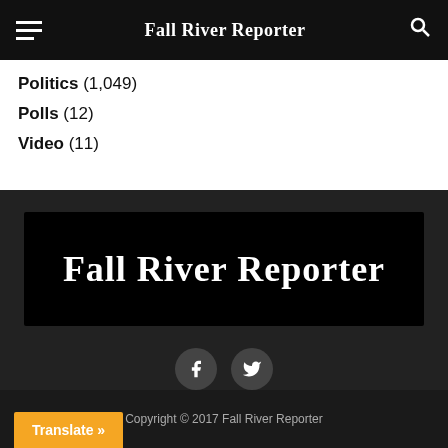Fall River Reporter
Politics (1,049)
Polls (12)
Video (11)
[Figure (logo): Fall River Reporter logo — white bold serif text on black background]
[Figure (infographic): Facebook and Twitter social media icon buttons]
Copyright © 2017 Fall River Reporter